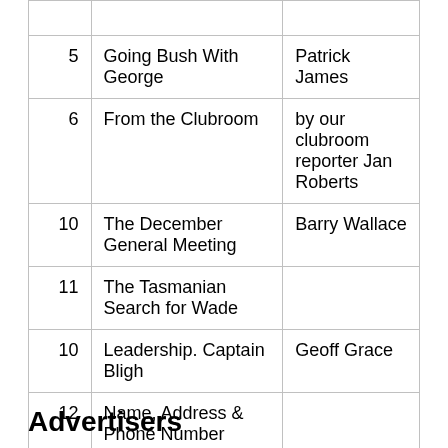|  |  |  |
| --- | --- | --- |
| 5 | Going Bush With George | Patrick James |
| 6 | From the Clubroom | by our clubroom reporter Jan Roberts |
| 10 | The December General Meeting | Barry Wallace |
| 11 | The Tasmanian Search for Wade |  |
| 10 | Leadership. Captain Bligh | Geoff Grace |
| 12 | Name, Address & Phone Number Changes |  |
Advertisers